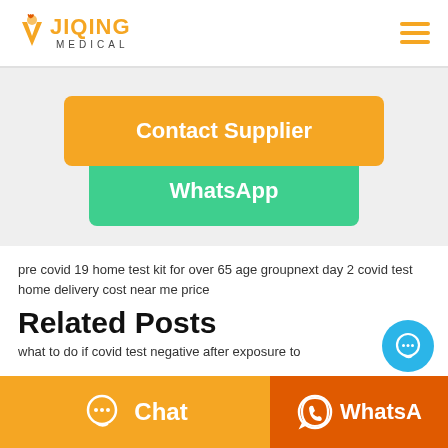JIQING MEDICAL
[Figure (screenshot): Orange Contact Supplier button]
[Figure (screenshot): Green WhatsApp button]
pre covid 19 home test kit for over 65 age groupnext day 2 covid test home delivery cost near me price
Related Posts
what to do if covid test negative after exposure to
[Figure (screenshot): Bottom bar with Chat and WhatsApp buttons]